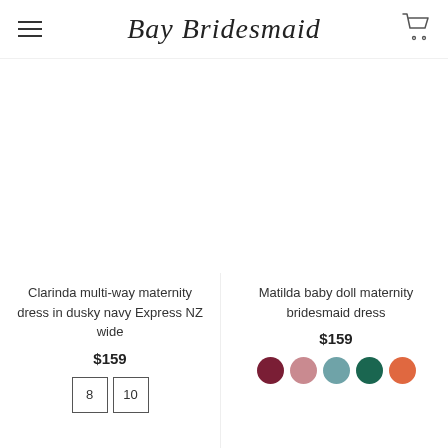Bay Bridesmaid
Clarinda multi-way maternity dress in dusky navy Express NZ wide
$159
Matilda baby doll maternity bridesmaid dress
$159